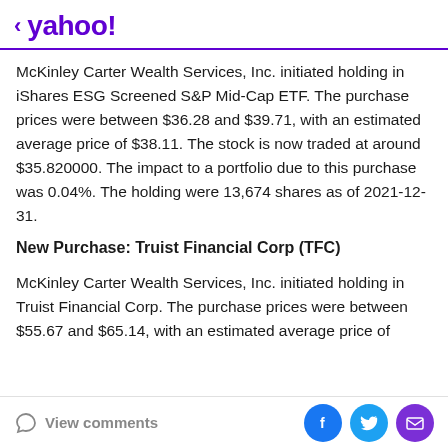< yahoo!
McKinley Carter Wealth Services, Inc. initiated holding in iShares ESG Screened S&P Mid-Cap ETF. The purchase prices were between $36.28 and $39.71, with an estimated average price of $38.11. The stock is now traded at around $35.820000. The impact to a portfolio due to this purchase was 0.04%. The holding were 13,674 shares as of 2021-12-31.
New Purchase: Truist Financial Corp (TFC)
McKinley Carter Wealth Services, Inc. initiated holding in Truist Financial Corp. The purchase prices were between $55.67 and $65.14, with an estimated average price of
View comments